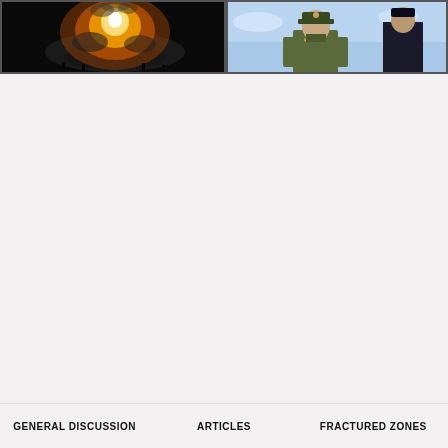[Figure (photo): Left photo: dark background with bright orange-white explosion/fireball, possibly a missile or rocket launch]
[Figure (photo): Right photo: military officer in uniform against a light blue sky background with another figure partially visible]
GENERAL DISCUSSION
ARTICLES
FRACTURED ZONES